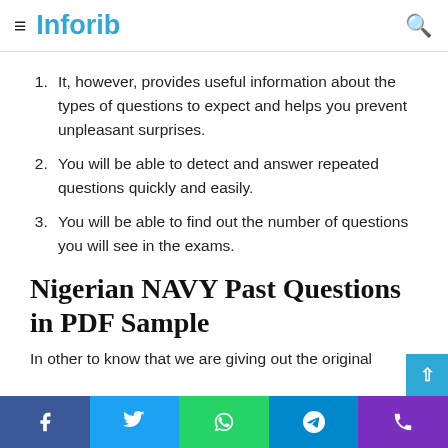≡ Inforib 🔍
It, however, provides useful information about the types of questions to expect and helps you prevent unpleasant surprises.
You will be able to detect and answer repeated questions quickly and easily.
You will be able to find out the number of questions you will see in the exams.
Nigerian NAVY Past Questions in PDF Sample
In other to know that we are giving out the original